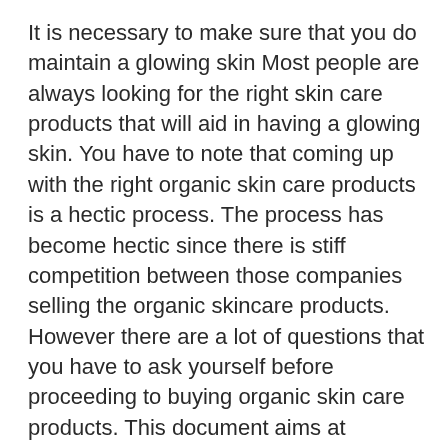It is necessary to make sure that you do maintain a glowing skin Most people are always looking for the right skin care products that will aid in having a glowing skin. You have to note that coming up with the right organic skin care products is a hectic process. The process has become hectic since there is stiff competition between those companies selling the organic skincare products. However there are a lot of questions that you have to ask yourself before proceeding to buying organic skin care products. This document aims at introducing you to the important factors that you have to consider when finding the right organic skincare products.